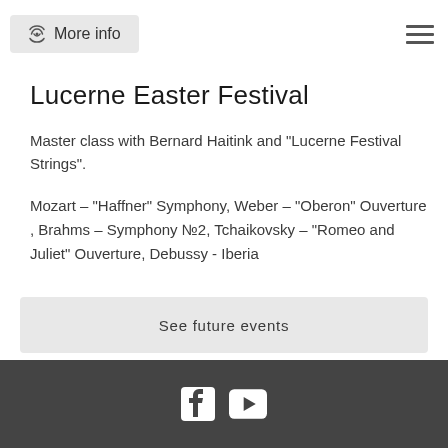More info
Lucerne Easter Festival
Master class with Bernard Haitink and "Lucerne Festival Strings".
Mozart – "Haffner" Symphony, Weber – "Oberon" Ouverture , Brahms – Symphony №2, Tchaikovsky – "Romeo and Juliet" Ouverture, Debussy - Iberia
See future events